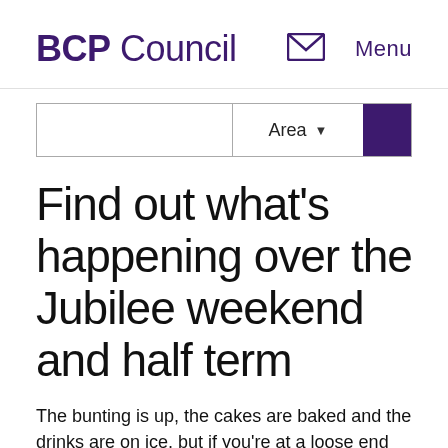BCP Council
[Figure (screenshot): Search bar with Area dropdown and purple search button]
Find out what's happening over the Jubilee weekend and half term
The bunting is up, the cakes are baked and the drinks are on ice, but if you're at a loose end this half term and Jubilee bank holiday here's our guide to some of the best events and activities taking place in Bournemouth